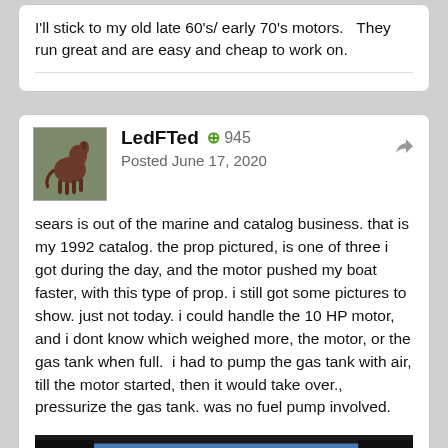I'll stick to my old late 60's/ early 70's motors.  They run great and are easy and cheap to work on.
LedFTed  +945  Posted June 17, 2020
sears is out of the marine and catalog business. that is my 1992 catalog. the prop pictured, is one of three i got during the day, and the motor pushed my boat faster, with this type of prop. i still got some pictures to show. just not today. i could handle the 10 HP motor, and i dont know which weighed more, the motor, or the gas tank when full.  i had to pump the gas tank with air, till the motor started, then it would take over., pressurize the gas tank. was no fuel pump involved.
[Figure (photo): Photo of a Marine Accessories catalog cover showing large text 'MARINE accessories']